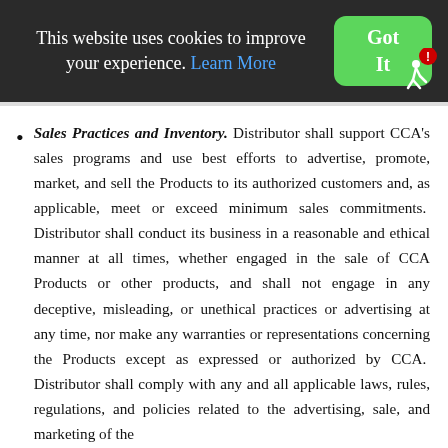This website uses cookies to improve your experience. Learn More
Sales Practices and Inventory. Distributor shall support CCA's sales programs and use best efforts to advertise, promote, market, and sell the Products to its authorized customers and, as applicable, meet or exceed minimum sales commitments.  Distributor shall conduct its business in a reasonable and ethical manner at all times, whether engaged in the sale of CCA Products or other products, and shall not engage in any deceptive, misleading, or unethical practices or advertising at any time, nor make any warranties or representations concerning the Products except as expressed or authorized by CCA.  Distributor shall comply with any and all applicable laws, rules, regulations, and policies related to the advertising, sale, and marketing of the